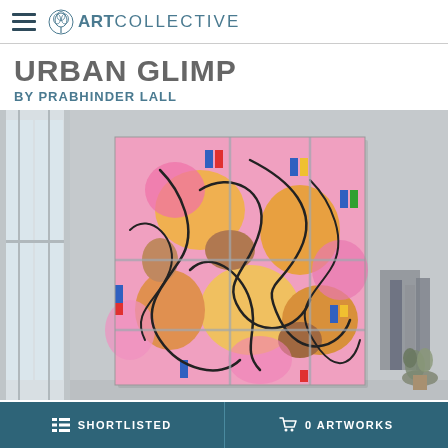ART COLLECTIVE
URBAN GLIMP
BY PRABHINDER LALL
[Figure (photo): Abstract colorful painting 'Urban Glimp' by Prabhinder Lall hung on a wall in a room setting. The painting features pink, orange, yellow, and brown abstract shapes with black swirling lines and small colorful rectangular accents.]
SHORTLISTED   0 ARTWORKS